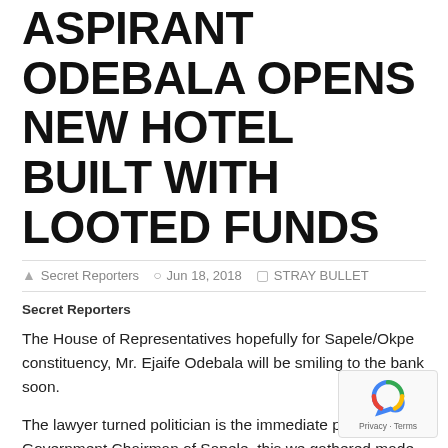ASPIRANT ODEBALA OPENS NEW HOTEL BUILT WITH LOOTED FUNDS
Secret Reporters   Jun 18, 2018   STRAY BULLET
Secret Reporters
The House of Representatives hopefully for Sapele/Okpe constituency, Mr. Ejaife Odebala will be smiling to the bank soon.
The lawyer turned politician is the immediate past Local Government Chairman of Sapele, this we gathered made him stupendously rich. Staging a comeback to the realm of wealth, the Green Chambers aspirant allegedly dipped his hands into Sapele LG treasury and helped himself with funds, beyond his legitimate earnings.